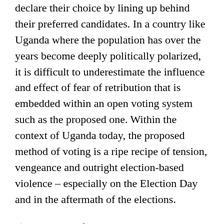declare their choice by lining up behind their preferred candidates. In a country like Uganda where the population has over the years become deeply politically polarized, it is difficult to underestimate the influence and effect of fear of retribution that is embedded within an open voting system such as the proposed one. Within the context of Uganda today, the proposed method of voting is a ripe recipe of tension, vengeance and outright election-based violence – especially on the Election Day and in the aftermath of the elections.
4) Free and fair voting principally demands that each voter makes an individual choice. Every person registered on the voters